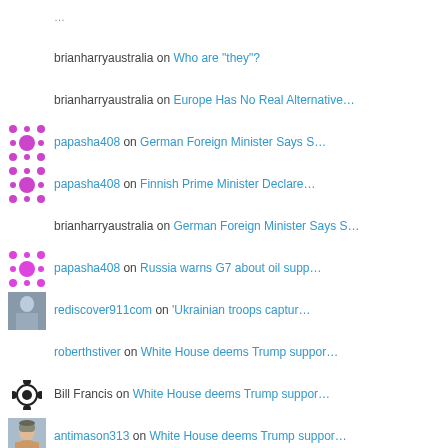brianharryaustralia on Who are “they”?
brianharryaustralia on Europe Has No Real Alternative…
papasha408 on German Foreign Minister Says S…
papasha408 on Finnish Prime Minister Declare…
brianharryaustralia on German Foreign Minister Says S…
papasha408 on Russia warns G7 about oil supp…
rediscover911com on ‘Ukrainian troops captur…
roberthstiver on White House deems Trump suppor…
Bill Francis on White House deems Trump suppor…
antimason313 on White House deems Trump suppor…